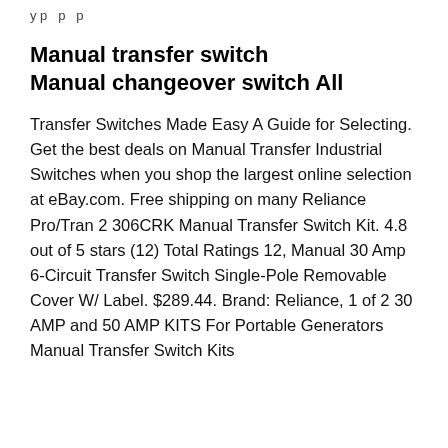y p p
Manual transfer switch Manual changeover switch All
Transfer Switches Made Easy A Guide for Selecting. Get the best deals on Manual Transfer Industrial Switches when you shop the largest online selection at eBay.com. Free shipping on many Reliance Pro/Tran 2 306CRK Manual Transfer Switch Kit. 4.8 out of 5 stars (12) Total Ratings 12, Manual 30 Amp 6-Circuit Transfer Switch Single-Pole Removable Cover W/ Label. $289.44. Brand: Reliance, 1 of 2 30 AMP and 50 AMP KITS For Portable Generators Manual Transfer Switch Kits